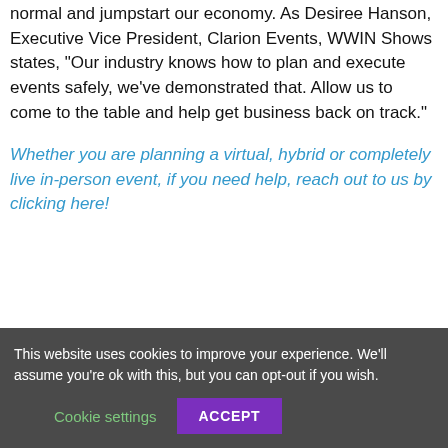normal and jumpstart our economy. As Desiree Hanson, Executive Vice President, Clarion Events, WWIN Shows states, "Our industry knows how to plan and execute events safely, we've demonstrated that. Allow us to come to the table and help get business back on track."
Whether you are planning a virtual, hybrid or completely live in-person event, if you need help, reach out to us by clicking here!
This website uses cookies to improve your experience. We'll assume you're ok with this, but you can opt-out if you wish.
Cookie settings | ACCEPT